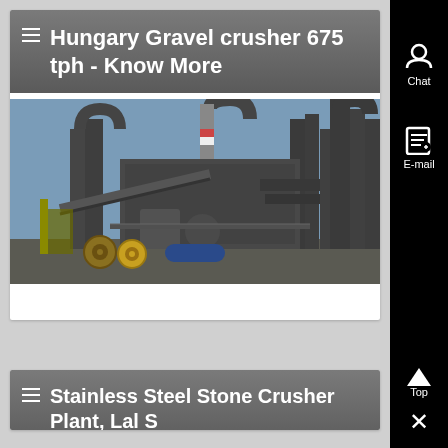≡ Hungary Gravel crusher 675 tph - Know More
[Figure (photo): Industrial gravel crusher / mining plant with large metal pipes, conveyor belts, machinery and equipment. Cable drums visible in foreground. Sky visible in background.]
≡ Stainless Steel Stone Crusher Plant, Lal S